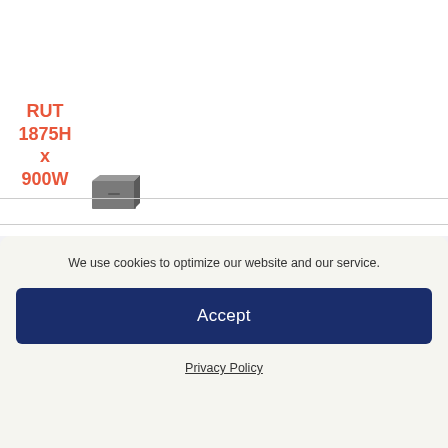RUT 1875H x 900W
[Figure (photo): Small grey rectangular product image (filing cabinet or similar)]
| Name | Image | Height | Width | Depth | Price |
| --- | --- | --- | --- | --- | --- |
We use cookies to optimize our website and our service.
Accept
Privacy Policy